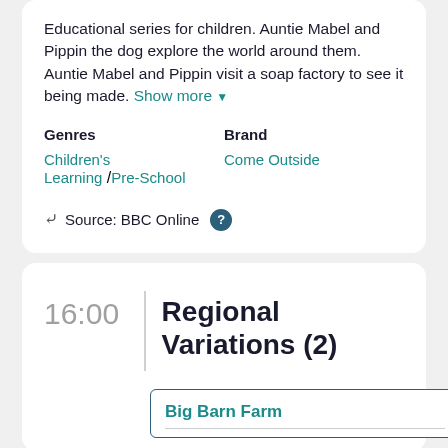Educational series for children. Auntie Mabel and Pippin the dog explore the world around them. Auntie Mabel and Pippin visit a soap factory to see it being made. Show more ▼
Genres
Brand
Children's
Learning /Pre-School
Come Outside
Source: BBC Online ?
16:00
Regional Variations (2)
Big Barn Farm
B
T